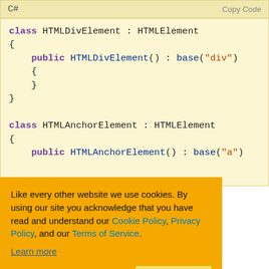[Figure (screenshot): C# code block showing class definitions for HTMLDivElement and HTMLAnchorElement, both extending HTMLElement, with constructors calling base with tag name strings.]
but we do not f our factory ut of the box!
onsider another vious tutorial, we had a look at anonymous objects. One way to use
Like every other website we use cookies. By using our site you acknowledge that you have read and understand our Cookie Policy, Privacy Policy, and our Terms of Service. Learn more
Ask me later  Decline  Allow cookies